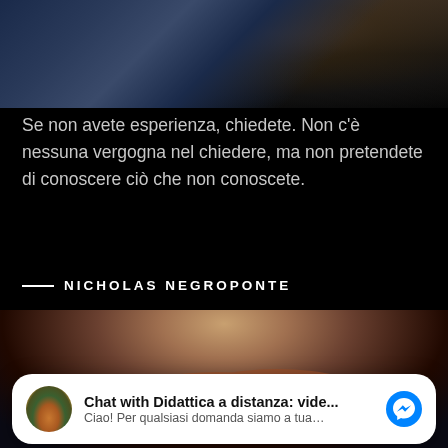[Figure (photo): Close-up photo of a person's chin/neck area with blue striped tie, dark background]
Se non avete esperienza, chiedete. Non c'è nessuna vergogna nel chiedere, ma non pretendete di conoscere ciò che non conoscete.
— NICHOLAS NEGROPONTE
[Figure (photo): Photo of Nicholas Negroponte with round orange-rimmed glasses, grey hair, dark background]
Chat with Didattica a distanza: vide...
Ciao! Per qualsiasi domanda siamo a tua…